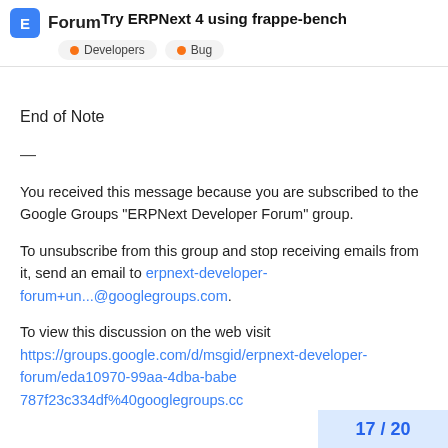Try ERPNext 4 using frappe-bench | Forum | Developers | Bug
End of Note
—
You received this message because you are subscribed to the Google Groups “ERPNext Developer Forum” group.
To unsubscribe from this group and stop receiving emails from it, send an email to erpnext-developer-forum+un...@googlegroups.com.
To view this discussion on the web visit https://groups.google.com/d/msgid/erpnext-developer-forum/eda10970-99aa-4dba-babe 787f23c334df%40googlegroups.cc
17 / 20